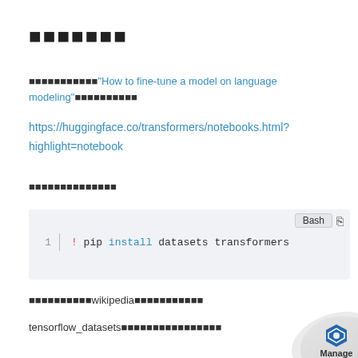■■■■■■■
■■■■■■■■■■■"How to fine-tune a model on language modeling"■■■■■■■■■■
https://huggingface.co/transformers/notebooks.html?highlight=notebook
■■■■■■■■■■■■■■
[Figure (screenshot): Code block showing bash command: ! pip install datasets transformers, with Bash label and copy icon]
■■■■■■■■■■wikipedia■■■■■■■■■■■
tensorflow_datasets■■■■■■■■■■■■■■■■